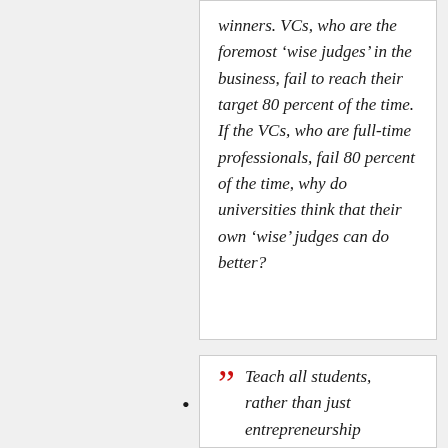winners. VCs, who are the foremost ‘wise judges’ in the business, fail to reach their target 80 percent of the time. If the VCs, who are full-time professionals, fail 80 percent of the time, why do universities think that their own ‘wise’ judges can do better?
Teach all students, rather than just entrepreneurship students or business-school students, how to build a business. I have